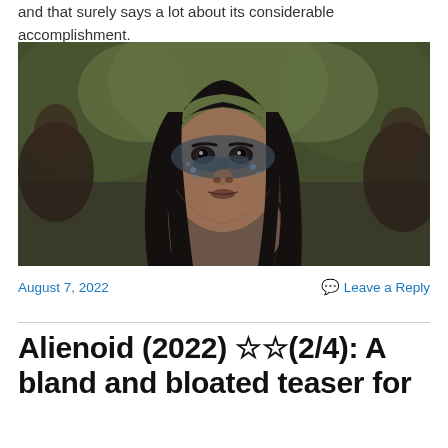and that surely says a lot about its considerable accomplishment.
[Figure (photo): Movie still: young woman with dark face paint and long dark hair looking intently at camera, with blurred figures and trees in background]
August 7, 2022
💬 Leave a Reply
Alienoid (2022) ☆☆(2/4): A bland and bloated teaser for